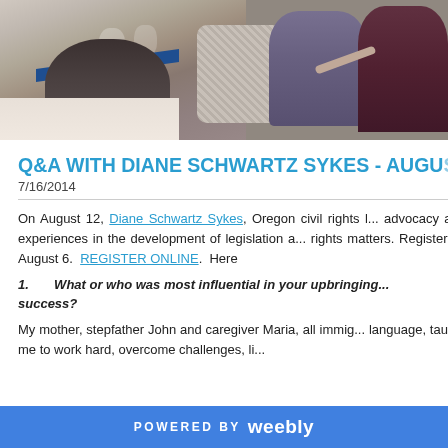[Figure (photo): Event photo showing people seated at a formal dinner table with a blue table runner, and people in the background on the right side.]
Q&A WITH DIANE SCHWARTZ SYKES - AUGU...
7/16/2014
On August 12, Diane Schwartz Sykes, Oregon civil rights ... advocacy and experiences in the development of legislation a... rights matters. Register by August 6.  REGISTER ONLINE.  Here...
1.  What or who was most influential in your upbringing... success?
My mother, stepfather John and caregiver Maria, all immig... language, taught me to work hard, overcome challenges, li...
POWERED BY weebly